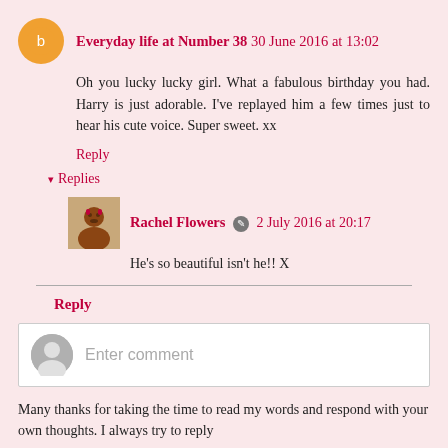Everyday life at Number 38  30 June 2016 at 13:02
Oh you lucky lucky girl. What a fabulous birthday you had. Harry is just adorable. I've replayed him a few times just to hear his cute voice. Super sweet. xx
Reply
▾ Replies
Rachel Flowers  2 July 2016 at 20:17
He's so beautiful isn't he!! X
Reply
Enter comment
Many thanks for taking the time to read my words and respond with your own thoughts. I always try to reply